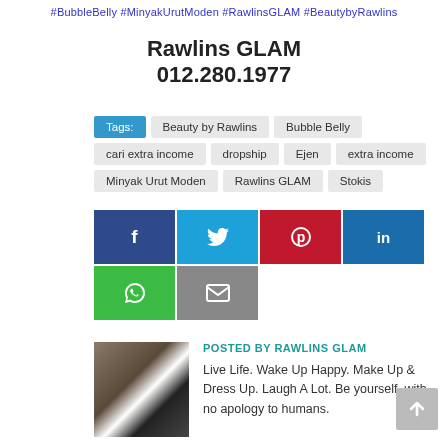#BubbleBelly #MinyakUrutModen #RawlinsGLAM #BeautybyRawlins
Rawlins GLAM
012.280.1977
Tags: Beauty by Rawlins | Bubble Belly | cari extra income | dropship | Ejen | extra income | Minyak Urut Moden | Rawlins GLAM | Stokis
[Figure (infographic): Social media share buttons: Facebook, Twitter, Pinterest, LinkedIn, WhatsApp, Email]
[Figure (photo): Profile photo of Rawlins GLAM author]
POSTED BY RAWLINS GLAM
Live Life. Wake Up Happy. Make Up & Dress Up. Laugh A Lot. Be yourself, with no apology to humans.